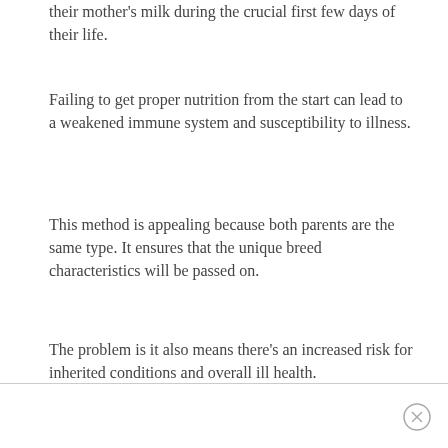their mother's milk during the crucial first few days of their life.
Failing to get proper nutrition from the start can lead to a weakened immune system and susceptibility to illness.
This method is appealing because both parents are the same type. It ensures that the unique breed characteristics will be passed on.
The problem is it also means there's an increased risk for inherited conditions and overall ill health.